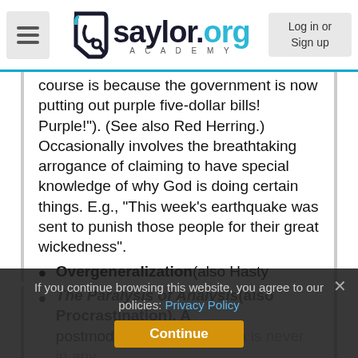[Figure (screenshot): Saylor Academy website navigation bar with hamburger menu, logo, and Log in or Sign up button]
course is because the government is now putting out purple five-dollar bills! Purple!"). (See also Red Herring.) Occasionally involves the breathtaking arrogance of claiming to have special knowledge of why God is doing certain things. E.g., "This week's earthquake was sent to punish those people for their great wickedness".
Overgeneralization(also Hasty Generalization). The stupid but common fallacy of incorrectly applying one or two examples to all cases (e.g. "Some college student was tailgating me all the way up North Main Street last night. This proves that all college students are lousy drivers and that we should pull their driver's licenses until they either grow up, learn to drive or graduate!")
The Paralysis of Analysis(also Procrastination). A postmodern fallacy that data is never in any conclusion is always [Continue], no legitimate decision
If you continue browsing this website, you agree to our policies: Privacy Policy Continue